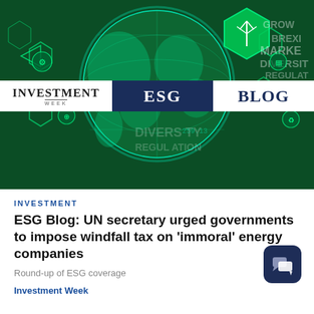[Figure (illustration): Investment Week ESG Blog banner image showing a glowing teal digital globe on dark green background with hexagonal icons and financial/ESG-related text overlays. A horizontal strip across the middle shows 'INVESTMENT WEEK' in white section, 'ESG' in dark navy section, and 'BLOG' in white section.]
INVESTMENT
ESG Blog: UN secretary urged governments to impose windfall tax on 'immoral' energy companies
Round-up of ESG coverage
Investment Week